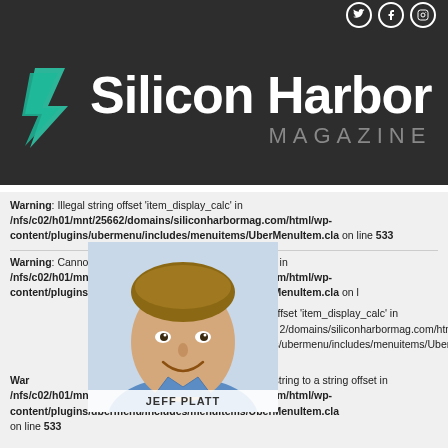[Figure (logo): Silicon Harbor Magazine logo with green lightning bolt icon on dark background, social media icons top right]
Warning: Illegal string offset 'item_display_calc' in /nfs/c02/h01/mnt/25662/domains/siliconharbormag.com/html/wp-content/plugins/ubermenu/includes/menuitems/UberMenuItem.cla on line 533
Warning: Cannot assign an empty string to a string offset in /nfs/c02/h01/mnt/25662/domains/siliconharbormag.com/html/wp-content/plugins/ubermenu/includes/menuitems/UberMenuItem.cla on line 533
Warning: Illegal string offset 'item_display_calc' in /nfs/c02/h01/mnt/25662/domains/siliconharbormag.com/html/wp-content/plugins/ubermenu/includes/menuitems/UberMenuItem.cla on line 533
Warning: Cannot assign an empty string to a string offset in /nfs/c02/h01/mnt/25662/domains/siliconharbormag.com/html/wp-content/plugins/ubermenu/includes/menuitems/UberMenuItem.cla on line 533
[Figure (photo): Headshot of Jeff Platt, smiling man in blue shirt]